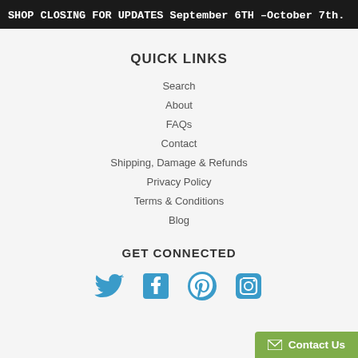SHOP CLOSING FOR UPDATES September 6TH -October 7th.
QUICK LINKS
Search
About
FAQs
Contact
Shipping, Damage & Refunds
Privacy Policy
Terms & Conditions
Blog
GET CONNECTED
[Figure (infographic): Four social media icons: Twitter (bird), Facebook (f), Pinterest (P), Instagram (camera)]
Contact Us